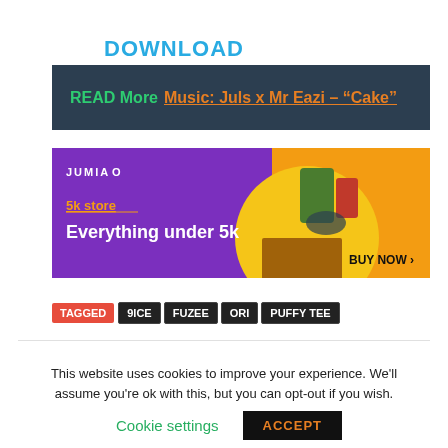DOWNLOAD
READ More Music: Juls x Mr Eazi – "Cake"
[Figure (infographic): Jumia 5k store advertisement banner with purple background, orange accent, showing clothing and products with text '5k store Everything under 5k' and 'BUY NOW ›']
TAGGED  9ICE  FUZEE  ORI  PUFFY TEE
This website uses cookies to improve your experience. We'll assume you're ok with this, but you can opt-out if you wish.
Cookie settings  ACCEPT